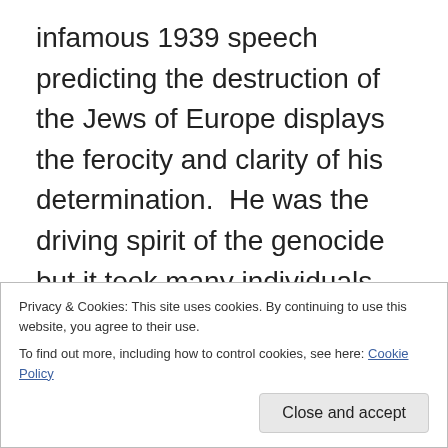infamous 1939 speech predicting the destruction of the Jews of Europe displays the ferocity and clarity of his determination.  He was the driving spirit of the genocide but it took many individuals and organisations to give it effect.  Throughout the exhibition there are photographs of the implementers of the Shoah.  Their names and faces are on lids that open to boxes containing information about their very normal lives and qualifications – husband, father, doctor, Ph.D, accountant.  It is this conscious and determined effort by educated men to eliminate an entire human group that constitutes the affront...
Privacy & Cookies: This site uses cookies. By continuing to use this website, you agree to their use.
To find out more, including how to control cookies, see here: Cookie Policy
Close and accept